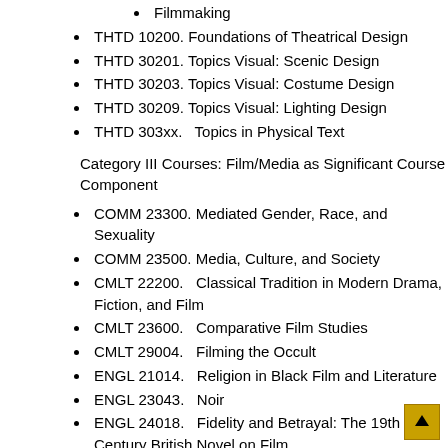Filmmaking
THTD 10200.  Foundations of Theatrical Design
THTD 30201.  Topics Visual: Scenic Design
THTD 30203.  Topics Visual: Costume Design
THTD 30209.  Topics Visual: Lighting Design
THTD 303xx.   Topics in Physical Text
Category III Courses: Film/Media as Significant Course Component
COMM 23300.  Mediated Gender, Race, and Sexuality
COMM 23500.  Media, Culture, and Society
CMLT 22200.   Classical Tradition in Modern Drama, Fiction, and Film
CMLT 23600.   Comparative Film Studies
CMLT 29004.   Filming the Occult
ENGL 21014.   Religion in Black Film and Literature
ENGL 23043.   Noir
ENGL 24018.   Fidelity and Betrayal: The 19th Century British Novel on Film
GRMN 25000.  Current Events in News and Social Media
HIST 20101.    History of the News